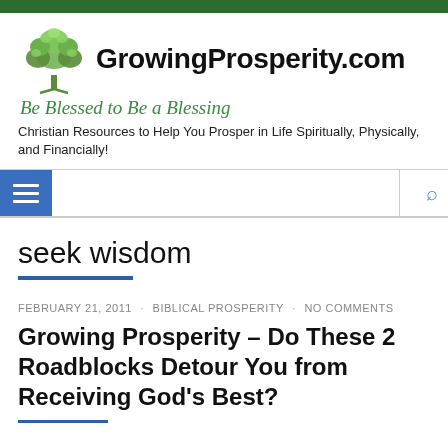[Figure (logo): GrowingProsperity.com website header with a green tree logo, site name in bold black, italic green tagline 'Be Blessed to Be a Blessing', and subtitle text]
GrowingProsperity.com
Be Blessed to Be a Blessing
Christian Resources to Help You Prosper in Life Spiritually, Physically, and Financially!
seek wisdom
FEBRUARY 21, 2011 · BIBLICAL PROSPERITY · NO COMMENTS
Growing Prosperity – Do These 2 Roadblocks Detour You from Receiving God's Best?